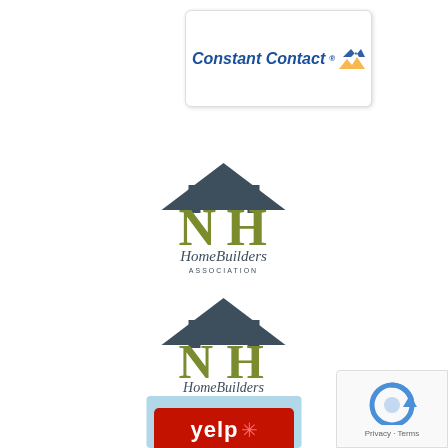[Figure (logo): Constant Contact logo in a white rounded rectangle box with shadow]
[Figure (logo): NH HomeBuilders Association logo - house icon with olive green NH letters]
[Figure (logo): NH HomeBuilders Association Greater Manchester - Nashua chapter logo]
[Figure (logo): Manta member badge - light blue rectangle with orange M circle and white text]
[Figure (logo): Yelp badge - red rectangle with white Yelp text and snowflake asterisk]